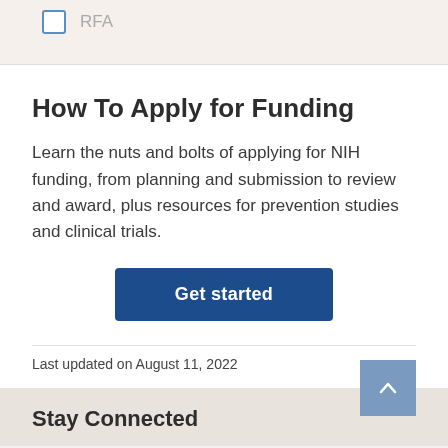RFA
How To Apply for Funding
Learn the nuts and bolts of applying for NIH funding, from planning and submission to review and award, plus resources for prevention studies and clinical trials.
Get started
Last updated on August 11, 2022
Stay Connected